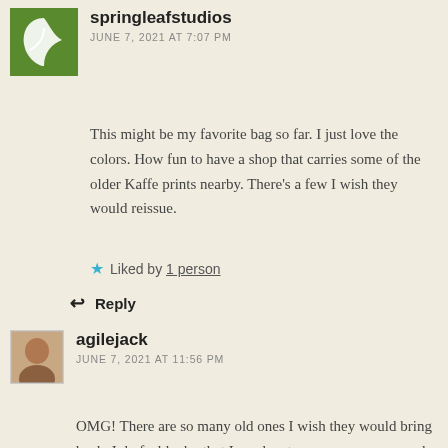springleafstudios
JUNE 7, 2021 AT 7:07 PM
This might be my favorite bag so far. I just love the colors. How fun to have a shop that carries some of the older Kaffe prints nearby. There's a few I wish they would reissue.
Liked by 1 person
Reply
agilejack
JUNE 7, 2021 AT 11:56 PM
OMG! There are so many old ones I wish they would bring back. I do feel lucky that I can locate some every now and again, but there are some I know I'll never have... and that makes me sad.